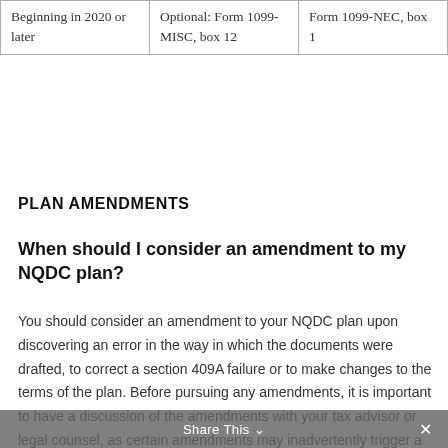| Beginning in 2020 or later | Optional: Form 1099-MISC, box 12 | Form 1099-NEC, box 1 |
PLAN AMENDMENTS
When should I consider an amendment to my NQDC plan?
You should consider an amendment to your NQDC plan upon discovering an error in the way in which the documents were drafted, to correct a section 409A failure or to make changes to the terms of the plan. Before pursuing any amendments, it is important to have a discussion of the amendments with your tax advisor or legal counsel, as certain amendments may inadvertently trigger a section 409A failure.
Share This ×